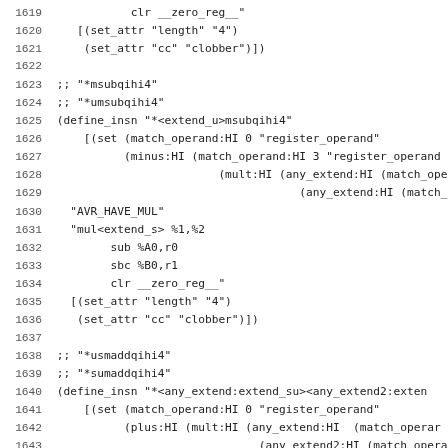Code listing lines 1619-1650, AVR GCC machine description file
1619    clr __zero_reg__"
1620    [(set_attr "length" "4")
1621     (set_attr "cc" "clobber")])
1622
1623 ;; "*msubqihi4"
1624 ;; "*umsubqihi4"
1625 (define_insn "*<extend_u>msubqihi4"
1626   [(set (match_operand:HI 0 "register_operand"
1627         (minus:HI (match_operand:HI 3 "register_operand"
1628                       (mult:HI (any_extend:HI (match_operand
1629                                   (any_extend:HI (match_operand
1630   "AVR_HAVE_MUL"
1631   "mul<extend_s> %1,%2
1632         sub %A0,r0
1633         sbc %B0,r1
1634         clr __zero_reg__"
1635   [(set_attr "length" "4")
1636    (set_attr "cc" "clobber")])
1637
1638 ;; "*usmaddqihi4"
1639 ;; "*sumaddqihi4"
1640 (define_insn "*<any_extend:extend_su><any_extend2:extend
1641   [(set (match_operand:HI 0 "register_operand"
1642         (plus:HI (mult:HI (any_extend:HI  (match_operand
1643                             (any_extend2:HI (match_operand
1644                   (match_operand:HI 3 "register_operand"
1645   "AVR_HAVE_MUL
1646    && reload_completed
1647    && <any_extend:CODE> != <any_extend2:CODE>"
1648   {
1649     output_asm_insn (<any_extend:CODE> == SIGN_EXTEND
1650                       ? "mulsu %1,%2" : "mulsu %2,%1", c